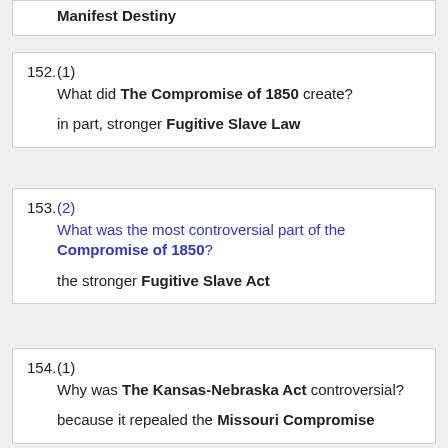Manifest Destiny
152. (1) What did The Compromise of 1850 create? in part, stronger Fugitive Slave Law
153. (2) What was the most controversial part of the Compromise of 1850? the stronger Fugitive Slave Act
154. (1) Why was The Kansas-Nebraska Act controversial? because it repealed the Missouri Compromise